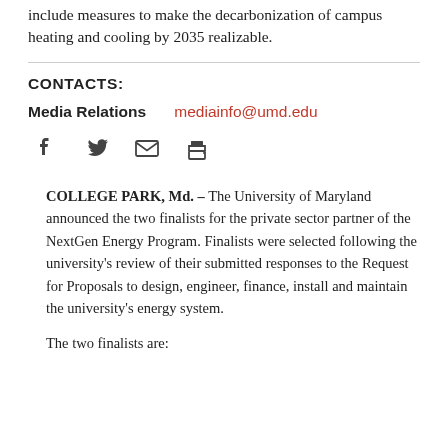include measures to make the decarbonization of campus heating and cooling by 2035 realizable.
CONTACTS:
Media Relations  mediainfo@umd.edu
[Figure (other): Social sharing icons: Facebook, Twitter, Email (envelope), Print (printer)]
COLLEGE PARK, Md. – The University of Maryland announced the two finalists for the private sector partner of the NextGen Energy Program. Finalists were selected following the university's review of their submitted responses to the Request for Proposals to design, engineer, finance, install and maintain the university's energy system.
The two finalists are: